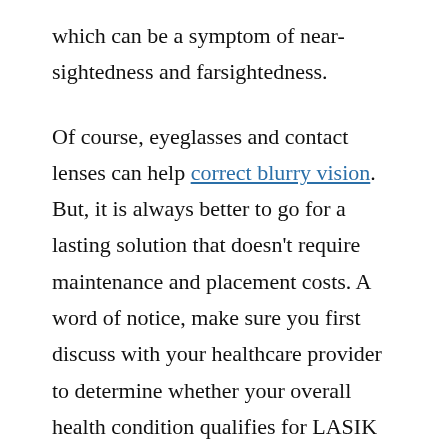which can be a symptom of near-sightedness and farsightedness.

Of course, eyeglasses and contact lenses can help correct blurry vision. But, it is always better to go for a lasting solution that doesn't require maintenance and placement costs. A word of notice, make sure you first discuss with your healthcare provider to determine whether your overall health condition qualifies for LASIK or not.